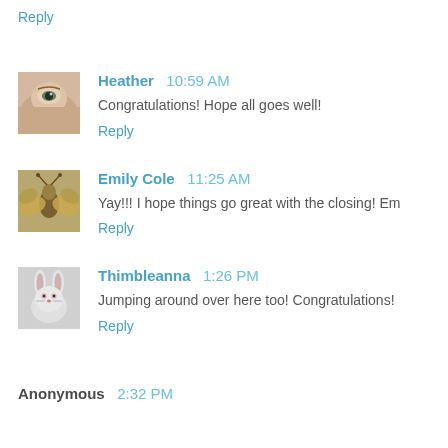Reply
Heather  10:59 AM
Congratulations! Hope all goes well!
Reply
Emily Cole  11:25 AM
Yay!!! I hope things go great with the closing! Em
Reply
Thimbleanna  1:26 PM
Jumping around over here too! Congratulations!
Reply
Anonymous  2:32 PM